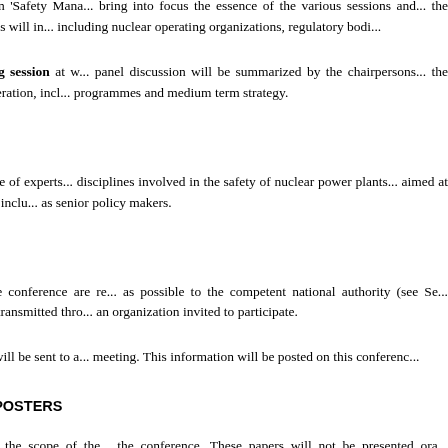A closing panel discussion will focus on 'Safety Mana... bring into focus the essence of the various sessions and... the conference concluding session. Participants will in... including nuclear operating organizations, regulatory bodi...
The conference will feature a concluding session at w... panel discussion will be summarized by the chairpersons... the future development of international co-operation, incl... programmes and medium term strategy.
5. AUDIENCE
The conference is directed at a broad range of experts... disciplines involved in the safety of nuclear power plants... aimed at both licensees and governmental officials, inclu... as senior policy makers.
6. PARTICIPATION
All persons wishing to participate in the conference are re... as possible to the competent national authority (see Se... accepted only if the Participation Form is transmitted thro... an organization invited to participate.
Details on the logistics of the conference will be sent to a... meeting. This information will be posted on this conferenc...
7. CONTRIBUTED PAPERS AND POSTERS
Concise papers on issues falling within the scope of the ... the conference. These papers will not be presented ora... Contributed Papers to be distributed free of charge to... present the substance of their paper(s) in the form of a Po...
The contributed papers should not exceed four pages... must be preceded by an abstract not exceeding 300...